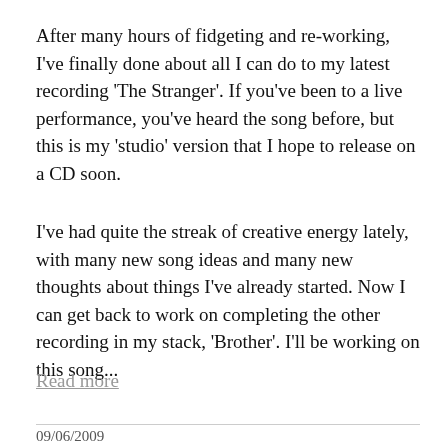After many hours of fidgeting and re-working, I've finally done about all I can do to my latest recording 'The Stranger'.  If you've been to a live performance, you've heard the song before, but this is my 'studio' version that I hope to release on a CD soon.
I've had quite the streak of creative energy lately, with many new song ideas and many new thoughts about things I've already started.  Now I can get back to work on completing the other recording in my stack, 'Brother'.  I'll be working on this song...
Read more
09/06/2009